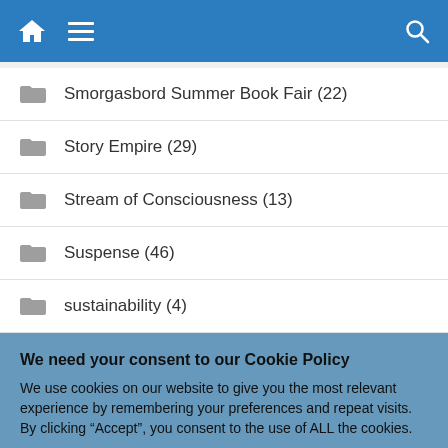Navigation bar with home, menu, and search icons
Smorgasbord Summer Book Fair (22)
Story Empire (29)
Stream of Consciousness (13)
Suspense (46)
sustainability (4)
We need your consent to our Cookie Policy
We use cookies on our website to give you the most relevant experience by remembering your preferences and repeat visits. By clicking “Accept”, you consent to the use of ALL the cookies.
Do not sell my personal information.
Cookie Settings | Accept